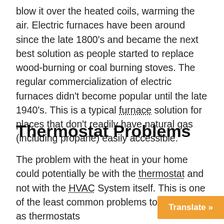blow it over the heated coils, warming the air. Electric furnaces have been around since the late 1800's and became the next best solution as people started to replace wood-burning or coal burning stoves. The regular commercialization of electric furnaces didn't become popular until the late 1940's. This is a typical furnace solution for places that don't readily have natural gas (including propane) easily accessible.
Thermostat Problems
The problem with the heat in your home could potentially be with the thermostat and not with the HVAC System itself. This is one of the least common problems to deal with as thermostats are simple problems, even new digital and wire...